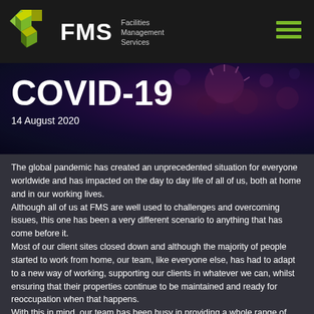FMS Facilities Management Services
COVID-19
14 August 2020
The global pandemic has created an unprecedented situation for everyone worldwide and has impacted on the day to day life of all of us, both at home and in our working lives. Although all of us at FMS are well used to challenges and overcoming issues, this one has been a very different scenario to anything that has come before it. Most of our client sites closed down and although the majority of people started to work from home, our team, like everyone else, has had to adapt to a new way of working, supporting our clients in whatever we can, whilst ensuring that their properties continue to be maintained and ready for reoccupation when that happens. With this in mind, our team has been busy in providing a whole range of support services. We have been working with our partners to provide enhanced cleaning services, special cleans and supplied hand sanitiser